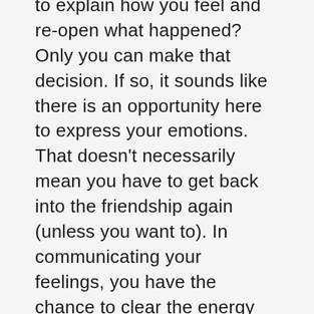to explain how you feel and re-open what happened? Only you can make that decision. If so, it sounds like there is an opportunity here to express your emotions. That doesn't necessarily mean you have to get back into the friendship again (unless you want to). In communicating your feelings, you have the chance to clear the energy for yourself. Sometimes in these cases, you can repair the friendship with a foundation of new respect and understanding. Other times, you just get to say how you feel and get some type of closure to the relationship. But you won't know how it will play out until